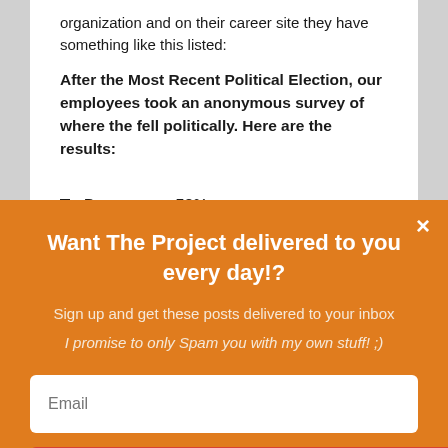organization and on their career site they have something like this listed:
After the Most Recent Political Election, our employees took an anonymous survey of where the fell politically. Here are the results:
Democrat – 52%
Republican – 35%
Libertarian – 3%
Want The Project delivered to you every day!?
Sign up and get these posts delivered to your inbox
I promise to only Spam you with my own stuff! ;)